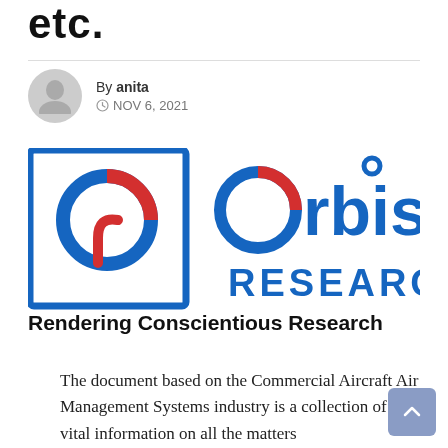etc.
By anita
NOV 6, 2021
[Figure (logo): Orbis Research logo with tagline 'Rendering Conscientious Research']
The document based on the Commercial Aircraft Air Management Systems industry is a collection of vital information on all the matters